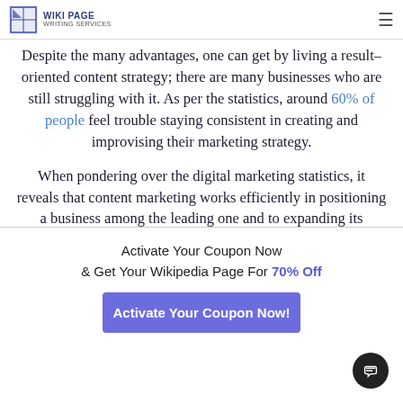WIKI PAGE WRITING SERVICES
Despite the many advantages, one can get by living a result-oriented content strategy; there are many businesses who are still struggling with it. As per the statistics, around 60% of people feel trouble staying consistent in creating and improvising their marketing strategy.
When pondering over the digital marketing statistics, it reveals that content marketing works efficiently in positioning a business among the leading one and to expanding its clientele. Over 72% of marketers have reported to have received an increment in revenue generation and user engagements through content.
Activate Your Coupon Now & Get Your Wikipedia Page For 70% Off
Activate Your Coupon Now!